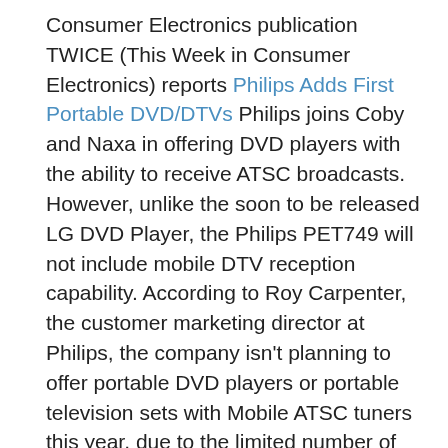Consumer Electronics publication TWICE (This Week in Consumer Electronics) reports Philips Adds First Portable DVD/DTVs Philips joins Coby and Naxa in offering DVD players with the ability to receive ATSC broadcasts. However, unlike the soon to be released LG DVD Player, the Philips PET749 will not include mobile DTV reception capability. According to Roy Carpenter, the customer marketing director at Philips, the company isn't planning to offer portable DVD players or portable television sets with Mobile ATSC tuners this year, due to the limited number of markets in which Mobile ATSC broadcasts are available. He figures that such a product would have only limited appeal to the big retail outlets at this point in time.
• SunSentinel.com consumer columnist Daniel Vasquez warns South Florida residents Don't wait to be sure your TV is storm-ready - New storm TV ...